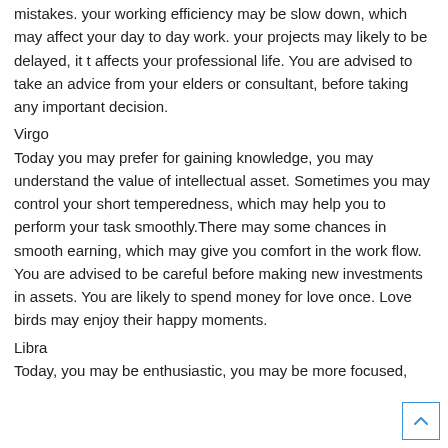mistakes. your working efficiency may be slow down, which may affect your day to day work. your projects may likely to be delayed, it t affects your professional life. You are advised to take an advice from your elders or consultant, before taking any important decision.
Virgo
Today you may prefer for gaining knowledge, you may understand the value of intellectual asset. Sometimes you may control your short temperedness, which may help you to perform your task smoothly.There may some chances in smooth earning, which may give you comfort in the work flow. You are advised to be careful before making new investments in assets. You are likely to spend money for love once. Love birds may enjoy their happy moments.
Libra
Today, you may be enthusiastic, you may be more focused,